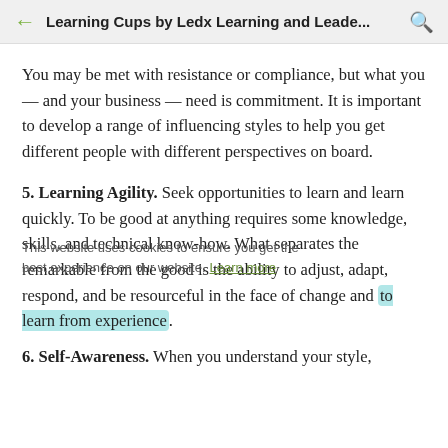Learning Cups by Ledx Learning and Leade...
You may be met with resistance or compliance, but what you — and your business — need is commitment. It is important to develop a range of influencing styles to help you get different people with different perspectives on board.
5. Learning Agility. Seek opportunities to learn and learn quickly. To be good at anything requires some knowledge, skills, and technical know-how. What separates the remarkable from the good is the ability to adjust, adapt, respond, and be resourceful in the face of change and to learn from experience.
6. Self-Awareness. When you understand your style,